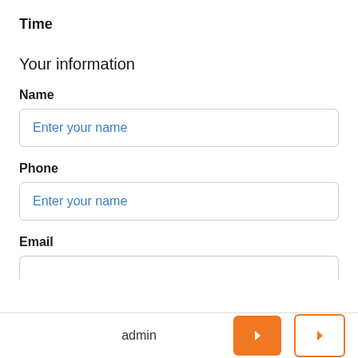Time
Your information
Name
Enter your name
Phone
Enter your name
Email
admin